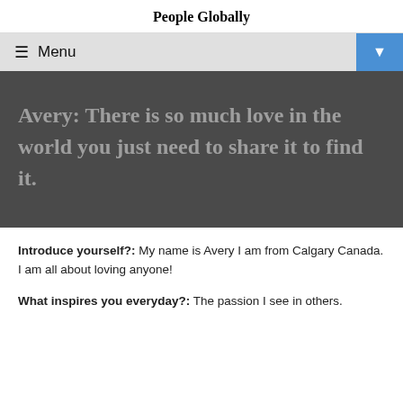People Globally
≡ Menu
Avery: There is so much love in the world you just need to share it to find it.
Introduce yourself?: My name is Avery I am from Calgary Canada. I am all about loving anyone!
What inspires you everyday?: The passion I see in others.